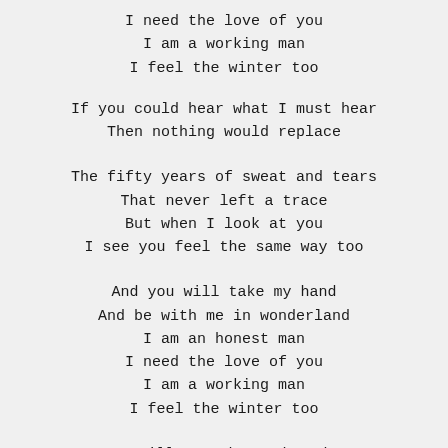I need the love of you
I am a working man
I feel the winter too
If you could hear what I must hear
Then nothing would replace
The fifty years of sweat and tears
That never left a trace
But when I look at you
I see you feel the same way too
And you will take my hand
And be with me in wonderland
I am an honest man
I need the love of you
I am a working man
I feel the winter too
You still remember other days
When every head was high
I watched that pride be torn apart